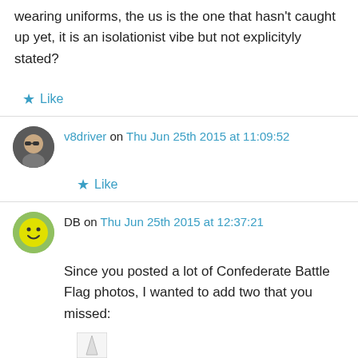wearing uniforms, the us is the one that hasn't caught up yet, it is an isolationist vibe but not explicityly stated?
★ Like
v8driver on Thu Jun 25th 2015 at 11:09:52
★ Like
DB on Thu Jun 25th 2015 at 12:37:21
Since you posted a lot of Confederate Battle Flag photos, I wanted to add two that you missed: